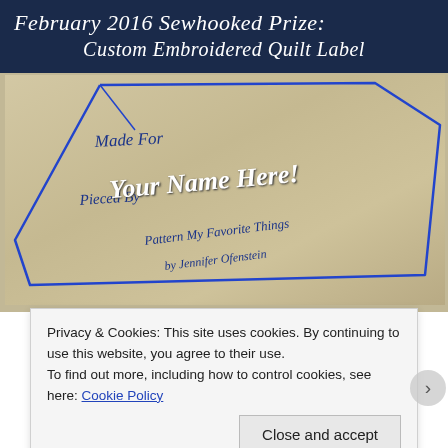[Figure (photo): A photo of a custom embroidered quilt label on cream/beige fabric with blue embroidery thread outline forming a label shape. The label shows cursive script text: 'Made For', 'Pieced By', 'Pattern My Favorite Things', 'by Jennifer Ofenstein'. White italic overlay text reads 'Your Name Here!'. Header banner with dark navy background shows 'February 2016 Sewhooked Prize: Custom Embroidered Quilt Label' in white italic script.]
Privacy & Cookies: This site uses cookies. By continuing to use this website, you agree to their use. To find out more, including how to control cookies, see here: Cookie Policy
Close and accept